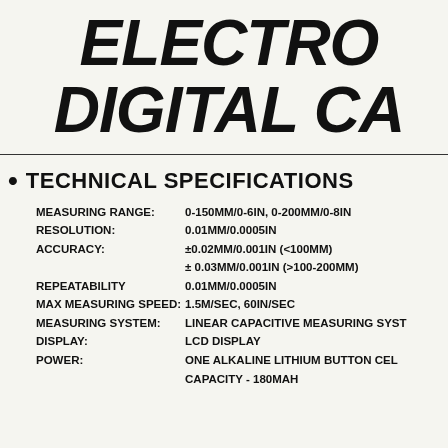ELECTRO DIGITAL CA
TECHNICAL SPECIFICATIONS
| Specification | Value |
| --- | --- |
| MEASURING RANGE: | 0-150MM/0-6IN, 0-200MM/0-8IN |
| RESOLUTION: | 0.01MM/0.0005IN |
| ACCURACY: | ±0.02MM/0.001IN (<100MM) |
|  | ± 0.03MM/0.001IN (>100-200MM) |
| REPEATABILITY | 0.01MM/0.0005IN |
| MAX MEASURING SPEED: | 1.5M/SEC, 60IN/SEC |
| MEASURING SYSTEM: | LINEAR CAPACITIVE MEASURING SYST |
| DISPLAY: | LCD DISPLAY |
| POWER: | ONE ALKALINE LITHIUM BUTTON CEL |
|  | CAPACITY - 180MAH |